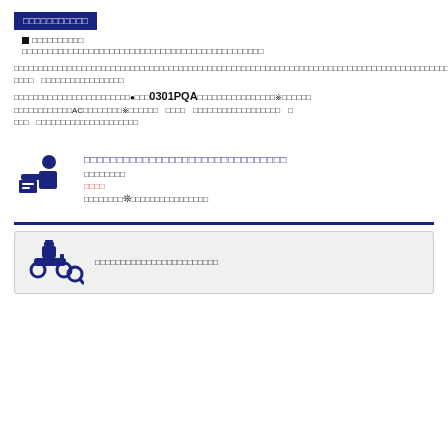□□□□□□□□□□□
■ □□□□□□□□□□
□□□□□□□□□□□□□□□□□□□□□□□□□□□□□□□□□□□□□□□□□□□□□□□□□□□□□□□□□□□□□□□□□□□□□□□□□□□□□□□□□□□□□□□□□□□□□□□□□□□□□□□□□□□□□□□□□□□□□□□□□□□□□□□□□□□□□□□□□□□□□□□□□□□□□□□□□□□□□□□□□□□□□□□□□□□□□□□□□※□□□□□□　□□□□　□□□□□□□□□□□□□□□□□□　□□□□□□□□□□□□□□□□□□□□□□□□●□□□0301PQA□□□□□□□□□□□□□□□□※□□□□□□□□□□□□□□□□□AC□□□□□□□□※□□□□□□　□□□□　□□□□□□□□□□□□□□□□□□　□□□□　□□□□□□□□□□□□□□□□□□□
[Figure (illustration): Person/figure submitting a document icon in dark navy blue]
□□□□□□□□□□□□□□□□□□□□□□□□□□□□□□□□□□□□□□□□□□□□□□□□
□□□□□□□□
□□□□
□□□□□□□□❊□□□□□□□□□□□□□□□□
[Figure (illustration): Person on scooter with magnifying glass search icon in dark navy blue]
□□□□□□□□□□□□□□□□□□□□□□□□